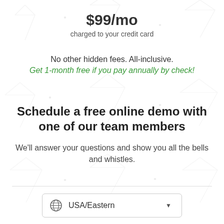$99/mo
charged to your credit card
No other hidden fees. All-inclusive.
Get 1-month free if you pay annually by check!
Schedule a free online demo with one of our team members
We'll answer your questions and show you all the bells and whistles.
USA/Eastern